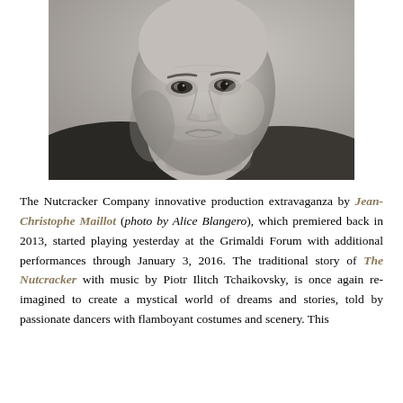[Figure (photo): Black and white close-up portrait photo of a bald man with light stubble beard, looking slightly to the side. Photo attributed to Alice Blangero.]
The Nutcracker Company innovative production extravaganza by Jean-Christophe Maillot (photo by Alice Blangero), which premiered back in 2013, started playing yesterday at the Grimaldi Forum with additional performances through January 3, 2016. The traditional story of The Nutcracker with music by Piotr Ilitch Tchaikovsky, is once again re-imagined to create a mystical world of dreams and stories, told by passionate dancers with flamboyant costumes and scenery. This